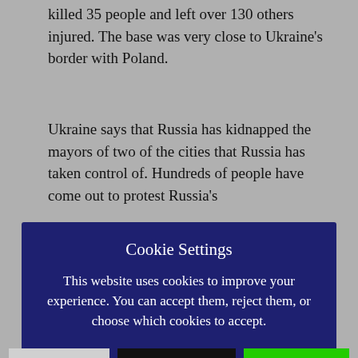killed 35 people and left over 130 others injured. The base was very close to Ukraine's border with Poland.
Ukraine says that Russia has kidnapped the mayors of two of the cities that Russia has taken control of. Hundreds of people have come out to protest Russia's
[Figure (screenshot): Cookie consent modal dialog with dark navy background. Title: 'Cookie Settings'. Body text: 'This website uses cookies to improve your experience. You can accept them, reject them, or choose which cookies to accept.' Three buttons: 'Reject' (light gray), 'Cookie settings' (black with yellow text), 'ACCEPT' (bright green).]
Ukraine.
Peace talks between Russia and Ukraine are expected to start again tomorrow, over video.